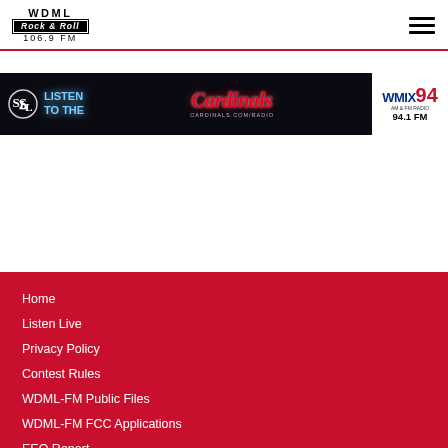[Figure (logo): WDML Rock & Roll 106.9 FM radio station logo]
[Figure (infographic): Advertisement banner: Listen to the Cardinals, Cardinals.com/Radio, WMIX 94 94.1 FM]
Home
Listen Live
Privacy Policy
Contest Rules
WDML-FM Public Files
WDML-FM FCC Applications
EEO Report